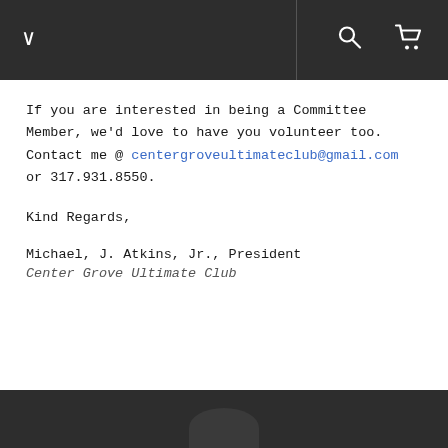navigation bar with chevron, search, and cart icons
If you are interested in being a Committee Member, we'd love to have you volunteer too.  Contact me @ centergroveultimateclub@gmail.com or 317.931.8550.
Kind Regards,
Michael, J. Atkins, Jr., President
Center Grove Ultimate Club
dark footer bar